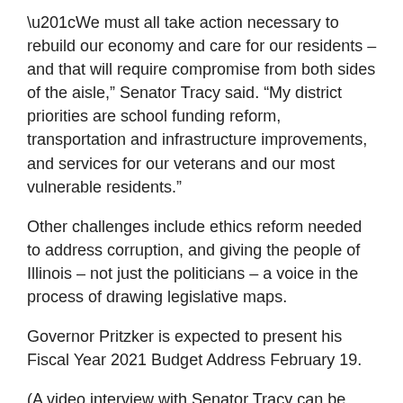“We must all take action necessary to rebuild our economy and care for our residents – and that will require compromise from both sides of the aisle,” Senator Tracy said. “My district priorities are school funding reform, transportation and infrastructure improvements, and services for our veterans and our most vulnerable residents.”
Other challenges include ethics reform needed to address corruption, and giving the people of Illinois – not just the politicians – a voice in the process of drawing legislative maps.
Governor Pritzker is expected to present his Fiscal Year 2021 Budget Address February 19.
(A video interview with Senator Tracy can be seen by clicking here).